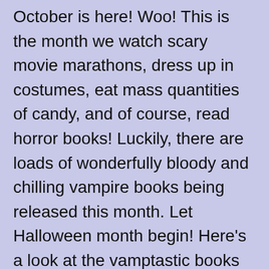October is here! Woo! This is the month we watch scary movie marathons, dress up in costumes, eat mass quantities of candy, and of course, read horror books! Luckily, there are loads of wonderfully bloody and chilling vampire books being released this month. Let Halloween month begin! Here’s a look at the vamptastic books hitting stores this month.
(Click title to view on Amazon)
The Vampire Hunters: Dominion by Scott M. Baker
The exciting conclusion of The Vampire Hunters. After being hid by a group of...